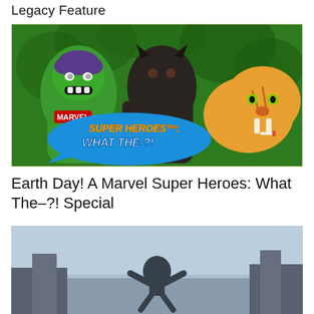Legacy Feature
[Figure (photo): Marvel Super Heroes: What The-?! promotional image showing action figures of the Hulk (green), a dark werewolf-like creature, and an orange saber-toothed tiger on a green background, with the show's logo in the lower left corner.]
Earth Day! A Marvel Super Heroes: What The–?! Special
[Figure (photo): Partially visible image showing a figure in a dark costume leaping/jumping, appearing to be from a video game or film, with a wintry/misty background and architectural elements.]